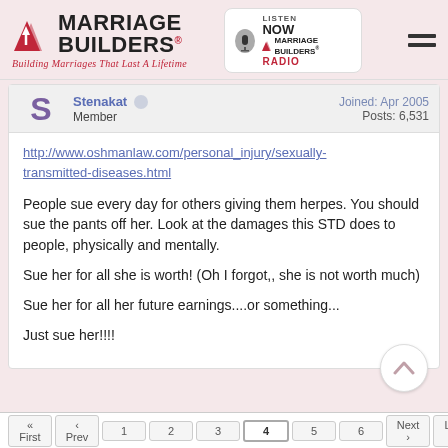[Figure (logo): Marriage Builders logo with red triangle arrows, black text 'MARRIAGE BUILDERS' and italic tagline 'Building Marriages That Last A Lifetime'. Also shows 'Listen Now Marriage Builders Radio' badge and hamburger menu icon.]
Stenakat | Member | Joined: Apr 2005 | Posts: 6,531
http://www.oshmanlaw.com/personal_injury/sexually-transmitted-diseases.html
People sue every day for others giving them herpes. You should sue the pants off her. Look at the damages this STD does to people, physically and mentally.
Sue her for all she is worth! (Oh I forgot,, she is not worth much)
Sue her for all her future earnings....or something...
Just sue her!!!!